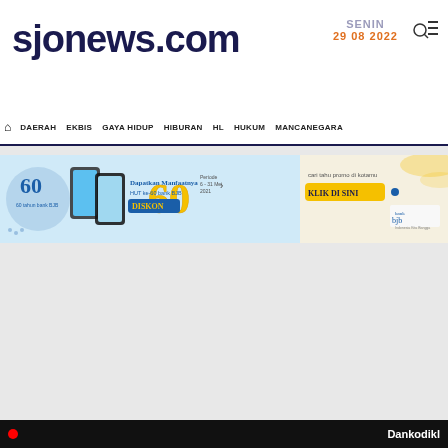-->
sjonews.com
SENIN 29 08 2022
DAERAH EKBIS GAYA HIDUP HIBURAN HL HUKUM MANCANEGARA
[Figure (other): Bank BJB advertisement banner - 60th anniversary promotion with DISKON 60%, periode 6-31 Mei 2021, cari tahu promo di kotamu KLIK DI SINI]
Dankodikl